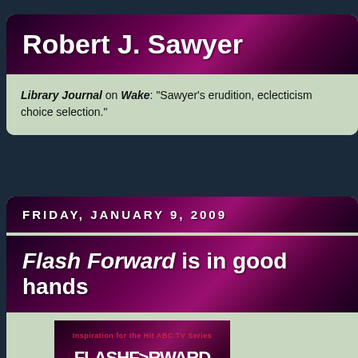Robert J. Sawyer
Library Journal on Wake: "Sawyer's erudition, eclecticism choice selection."
FRIDAY, JANUARY 9, 2009
Flash Forward is in good hands
[Figure (photo): Book cover of Flash Forward - Inspiration for the Hit ABC TV Series, showing FLASHFORWARD title text with red bar at bottom]